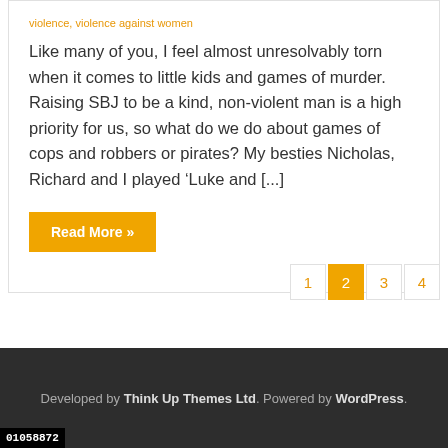violence, violence against women
Like many of you, I feel almost unresolvably torn when it comes to little kids and games of murder. Raising SBJ to be a kind, non-violent man is a high priority for us, so what do we do about games of cops and robbers or pirates? My besties Nicholas, Richard and I played ‘Luke and [...]
Read More »
Developed by Think Up Themes Ltd. Powered by WordPress.